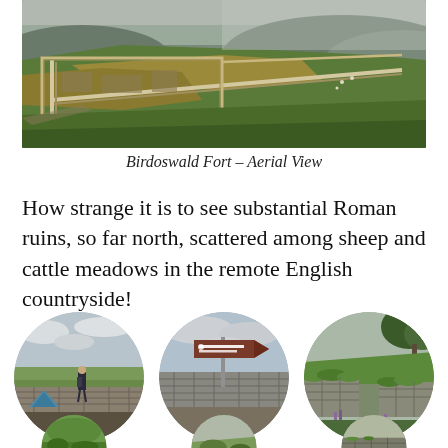[Figure (photo): Aerial view of Birdoswald Fort showing Roman ruins, walls, and agricultural fields in the English countryside, with rolling hills and misty background]
Birdoswald Fort – Aerial View
How strange it is to see substantial Roman ruins, so far north, scattered among sheep and cattle meadows in the remote English countryside!
[Figure (photo): Circular photo: person standing on top of a dry stone wall at Birdoswald Fort with countryside in background and a blue tent visible]
[Figure (photo): Circular photo: a brown heritage signpost for Birdoswald Roman Fort behind a stone wall]
[Figure (photo): Circular photo: grass-topped Roman stone ruins and walls at Birdoswald with green hillside and a tree]
[Figure (photo): Partial circular photo at bottom left: green landscape detail]
[Figure (photo): Partial circular photo at bottom center: landscape with vegetation]
[Figure (photo): Partial circular photo at bottom right: stone ruins detail]